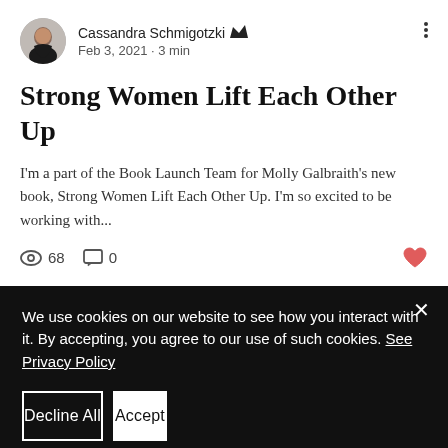[Figure (photo): Circular avatar photo of Cassandra Schmigotzki, a woman in a black top]
Cassandra Schmigotzki 👑 Admin
Feb 3, 2021 · 3 min
Strong Women Lift Each Other Up
I'm a part of the Book Launch Team for Molly Galbraith's new book, Strong Women Lift Each Other Up. I'm so excited to be working with...
👁 68   💬 0   ♥
We use cookies on our website to see how you interact with it. By accepting, you agree to our use of such cookies. See Privacy Policy
Decline All
Accept
Cookie Settings